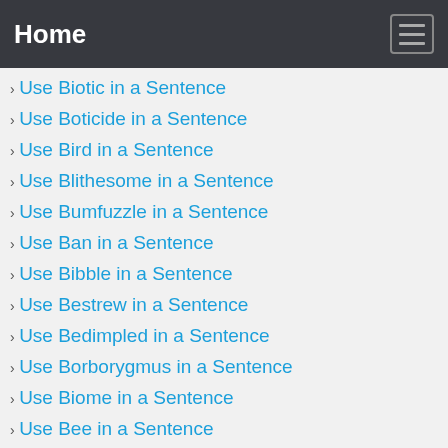Home
Use Biotic in a Sentence
Use Boticide in a Sentence
Use Bird in a Sentence
Use Blithesome in a Sentence
Use Bumfuzzle in a Sentence
Use Ban in a Sentence
Use Bibble in a Sentence
Use Bestrew in a Sentence
Use Bedimpled in a Sentence
Use Borborygmus in a Sentence
Use Biome in a Sentence
Use Bee in a Sentence
Use B... in a Sentence (partial)